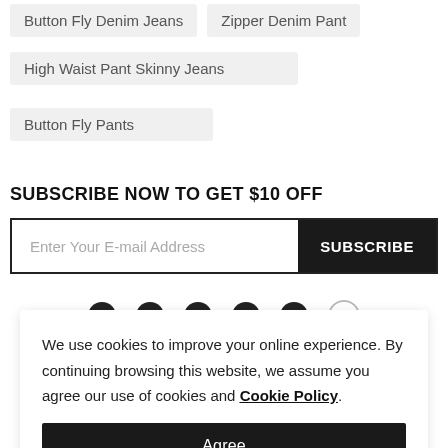Button Fly Denim Jeans
Zipper Denim Pant
High Waist Pant Skinny Jeans
Button Fly Pants
SUBSCRIBE NOW TO GET $10 OFF
Enter Your E-mail Address
SUBSCRIBE
We use cookies to improve your online experience. By continuing browsing this website, we assume you agree our use of cookies and Cookie Policy.
Agree